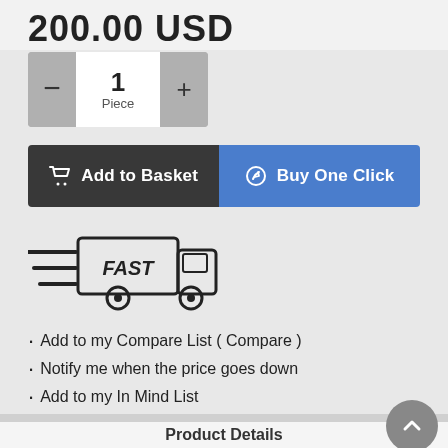200.00 USD
[Figure (infographic): Quantity selector with minus button, '1 Piece' center display, and plus button]
[Figure (infographic): Two action buttons: 'Add to Basket' (dark) and 'Buy One Click' (blue)]
[Figure (illustration): Fast delivery truck icon with speed lines and 'FAST' label on the truck body]
Add to my Compare List ( Compare )
Notify me when the price goes down
Add to my In Mind List
Product Details
Payment Details